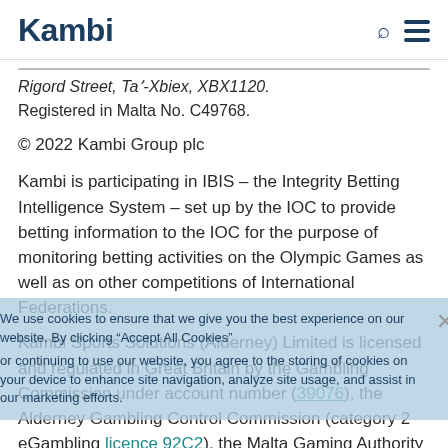Kambi
Rigord Street, Taʼ-Xbiex, XBX1120.
Registered in Malta No. C49768.
© 2022 Kambi Group plc
Kambi is participating in IBIS – the Integrity Betting Intelligence System – set up by the IOC to provide betting information to the IOC for the purpose of monitoring betting activities on the Olympic Games as well as on other competitions of International Federations.
Kambi Sports Solutions (Alderney) Limited is licensed and regulated in Great Britain by the Gambling Commission under account number (39076), the Alderney Gambling Control Commission (category 2 eGambling licence 92C2), the Malta Gaming Authority (licence number MGA/B2B/185/2010), the Dirección General de Ordenación del Juego...